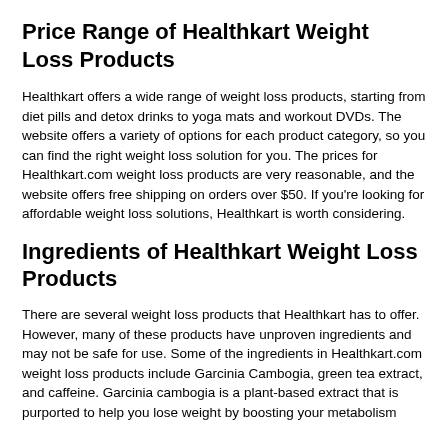Price Range of Healthkart Weight Loss Products
Healthkart offers a wide range of weight loss products, starting from diet pills and detox drinks to yoga mats and workout DVDs. The website offers a variety of options for each product category, so you can find the right weight loss solution for you. The prices for Healthkart.com weight loss products are very reasonable, and the website offers free shipping on orders over $50. If you're looking for affordable weight loss solutions, Healthkart is worth considering.
Ingredients of Healthkart Weight Loss Products
There are several weight loss products that Healthkart has to offer. However, many of these products have unproven ingredients and may not be safe for use. Some of the ingredients in Healthkart.com weight loss products include Garcinia Cambogia, green tea extract, and caffeine. Garcinia cambogia is a plant-based extract that is purported to help you lose weight by boosting your metabolism